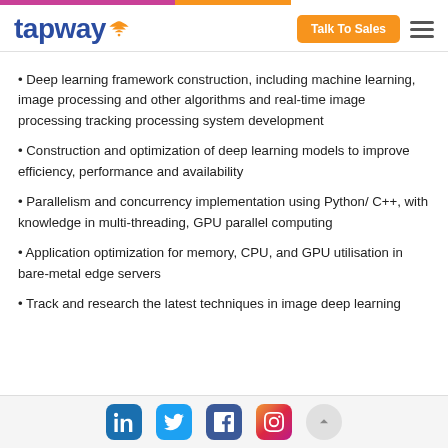tapway — Talk To Sales navigation
Deep learning framework construction, including machine learning, image processing and other algorithms and real-time image processing tracking processing system development
Construction and optimization of deep learning models to improve efficiency, performance and availability
Parallelism and concurrency implementation using Python/ C++, with knowledge in multi-threading, GPU parallel computing
Application optimization for memory, CPU, and GPU utilisation in bare-metal edge servers
Track and research the latest techniques in image deep learning
LinkedIn Twitter Facebook Instagram social icons